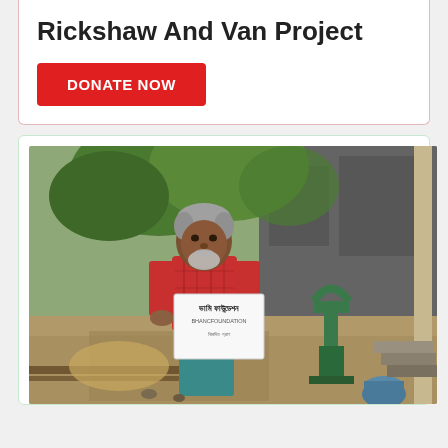Rickshaw And Van Project
DONATE NOW
[Figure (photo): An elderly man with grey hair and beard, wearing a red plaid shirt and teal/blue lungi, holding a white sign with Bengali text reading 'Bhami Foundation' (ভামি ফাউন্ডেশন) and additional text. He is standing outdoors next to a green hand water pump, with trees, a ruined building, and dirt ground visible in the background.]